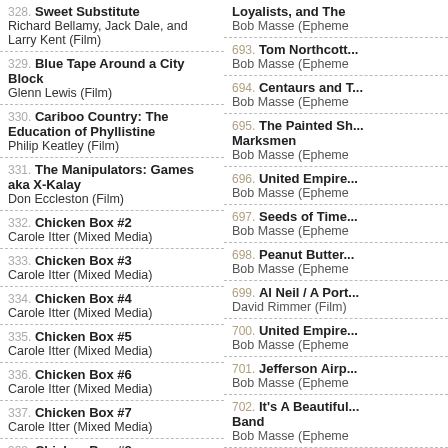328. Sweet Substitute — Richard Bellamy, Jack Dale, and Larry Kent (Film)
329. Blue Tape Around a City Block — Glenn Lewis (Film)
330. Cariboo Country: The Education of Phyllistine — Philip Keatley (Film)
331. The Manipulators: Games aka X-Kalay — Don Eccleston (Film)
332. Chicken Box #2 — Carole Itter (Mixed Media)
333. Chicken Box #3 — Carole Itter (Mixed Media)
334. Chicken Box #4 — Carole Itter (Mixed Media)
335. Chicken Box #5 — Carole Itter (Mixed Media)
336. Chicken Box #6 — Carole Itter (Mixed Media)
337. Chicken Box #7 — Carole Itter (Mixed Media)
338. Chicken Box #8 — Carole Itter (Mixed Media)
Loyalists, and The... — Bob Masse (Epheme...)
693. Tom Northcott... — Bob Masse (Epheme...)
694. Centaurs and ... — Bob Masse (Epheme...)
695. The Painted Sh... Marksmen — Bob Masse (Epheme...)
696. United Empire... — Bob Masse (Epheme...)
697. Seeds of Time... — Bob Masse (Epheme...)
698. Peanut Butter... — Bob Masse (Epheme...)
699. Al Neil / A Port... — David Rimmer (Film...)
700. United Empire... — Bob Masse (Epheme...)
701. Jefferson Airp... — Bob Masse (Epheme...)
702. It's A Beautiful... Band — Bob Masse (Epheme...)